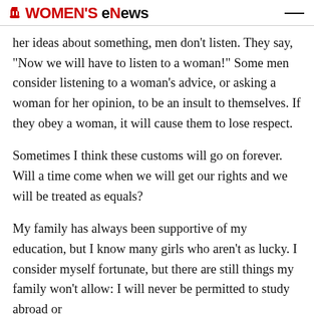WOMEN'S eNews
her ideas about something, men don’t listen. They say, “Now we will have to listen to a woman!” Some men consider listening to a woman’s advice, or asking a woman for her opinion, to be an insult to themselves. If they obey a woman, it will cause them to lose respect.
Sometimes I think these customs will go on forever. Will a time come when we will get our rights and we will be treated as equals?
My family has always been supportive of my education, but I know many girls who aren’t as lucky. I consider myself fortunate, but there are still things my family won’t allow: I will never be permitted to study abroad or